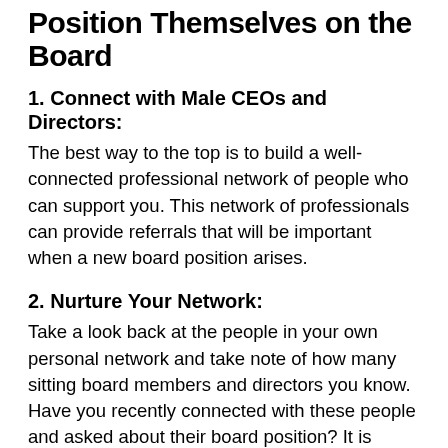Position Themselves on the Board
1. Connect with Male CEOs and Directors:
The best way to the top is to build a well-connected professional network of people who can support you. This network of professionals can provide referrals that will be important when a new board position arises.
2. Nurture Your Network:
Take a look back at the people in your own personal network and take note of how many sitting board members and directors you know. Have you recently connected with these people and asked about their board position? It is important to re-connect with your network and express interest in a board position while asking meaningful questions. Board members